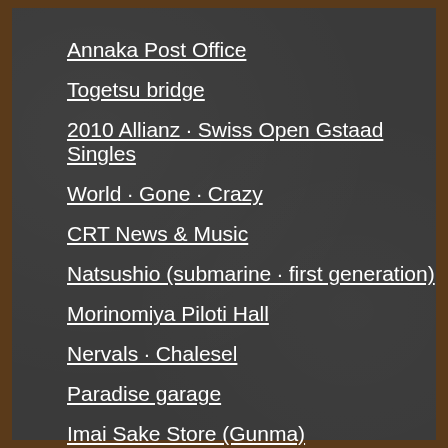Annaka Post Office
Togetsu bridge
2010 Allianz · Swiss Open Gstaad Singles
World · Gone · Crazy
CRT News & Music
Natsushio (submarine · first generation)
Morinomiya Piloti Hall
Nervals · Chalesel
Paradise garage
Imai Sake Store (Gunma)
Nipmak